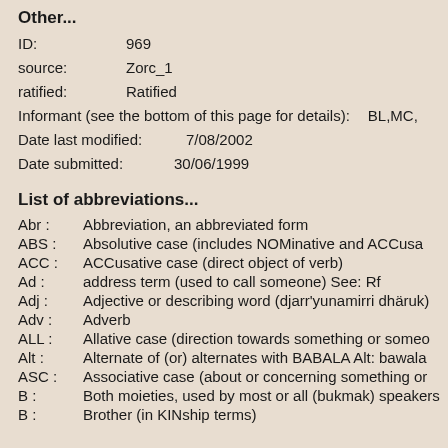Other...
ID:    969
source:    Zorc_1
ratified:    Ratified
Informant (see the bottom of this page for details):    BL,MC,
Date last modified:    7/08/2002
Date submitted:    30/06/1999
List of abbreviations...
Abr :    Abbreviation, an abbreviated form
ABS :    Absolutive case (includes NOMinative and ACCusa...
ACC :    ACCusative case (direct object of verb)
Ad :    address term (used to call someone) See: Rf
Adj :    Adjective or describing word (djarr'yunamirri dhäruk)
Adv :    Adverb
ALL :    Allative case (direction towards something or someo...
Alt :    Alternate of (or) alternates with BABALA Alt: bawala
ASC :    Associative case (about or concerning something or...
B :    Both moieties, used by most or all (bukmak) speakers
B :    Brother (in KINship terms)